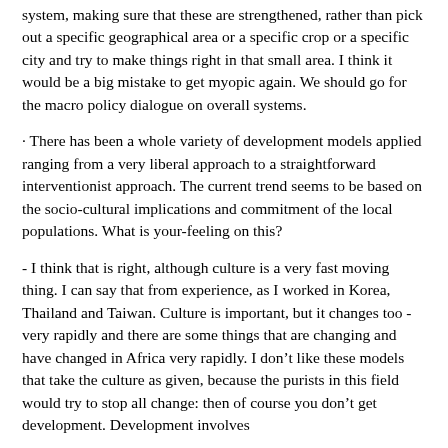system, making sure that these are strengthened, rather than pick out a specific geographical area or a specific crop or a specific city and try to make things right in that small area. I think it would be a big mistake to get myopic again. We should go for the macro policy dialogue on overall systems.
· There has been a whole variety of development models applied ranging from a very liberal approach to a straightforward interventionist approach. The current trend seems to be based on the socio-cultural implications and commitment of the local populations. What is your-feeling on this?
- I think that is right, although culture is a very fast moving thing. I can say that from experience, as I worked in Korea, Thailand and Taiwan. Culture is important, but it changes too - very rapidly and there are some things that are changing and have changed in Africa very rapidly. I don't like these models that take the culture as given, because the purists in this field would try to stop all change: then of course you don't get development. Development involves